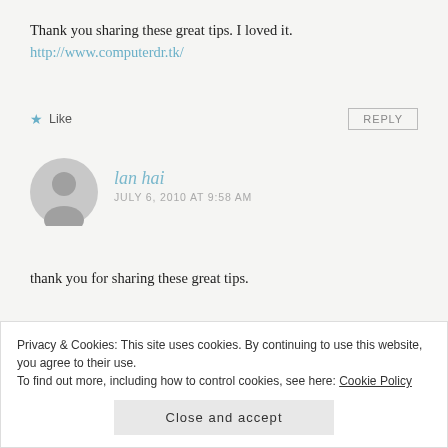Thank you sharing these great tips. I loved it.
http://www.computerdr.tk/
★ Like   REPLY
[Figure (illustration): Gray circular avatar placeholder icon]
lan hai
JULY 6, 2010 AT 9:58 AM
thank you for sharing these great tips.
★ Like   REPLY
Privacy & Cookies: This site uses cookies. By continuing to use this website, you agree to their use.
To find out more, including how to control cookies, see here: Cookie Policy
Close and accept